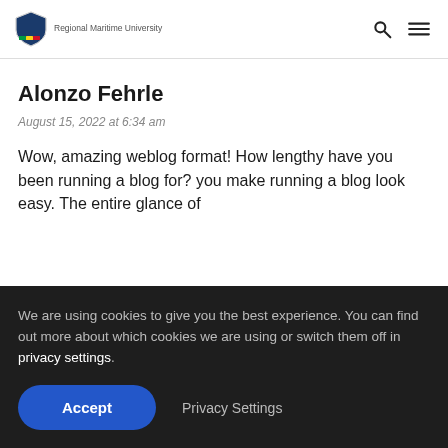Regional Maritime University
Alonzo Fehrle
August 15, 2022 at 6:34 am
Wow, amazing weblog format! How lengthy have you been running a blog for? you make running a blog look easy. The entire glance of
We are using cookies to give you the best experience. You can find out more about which cookies we are using or switch them off in privacy settings.
Accept  Privacy Settings